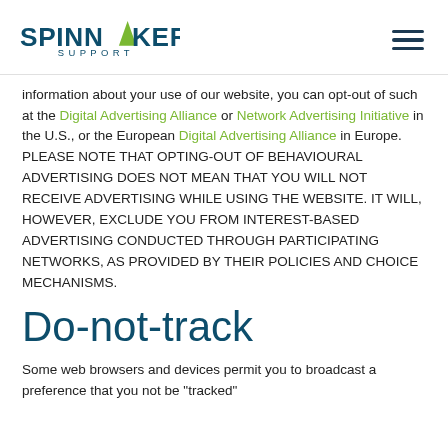Spinnaker Support logo and navigation menu
information about your use of our website, you can opt-out of such at the Digital Advertising Alliance or Network Advertising Initiative in the U.S., or the European Digital Advertising Alliance in Europe. PLEASE NOTE THAT OPTING-OUT OF BEHAVIOURAL ADVERTISING DOES NOT MEAN THAT YOU WILL NOT RECEIVE ADVERTISING WHILE USING THE WEBSITE. IT WILL, HOWEVER, EXCLUDE YOU FROM INTEREST-BASED ADVERTISING CONDUCTED THROUGH PARTICIPATING NETWORKS, AS PROVIDED BY THEIR POLICIES AND CHOICE MECHANISMS.
Do-not-track
Some web browsers and devices permit you to broadcast a preference that you not be "tracked"